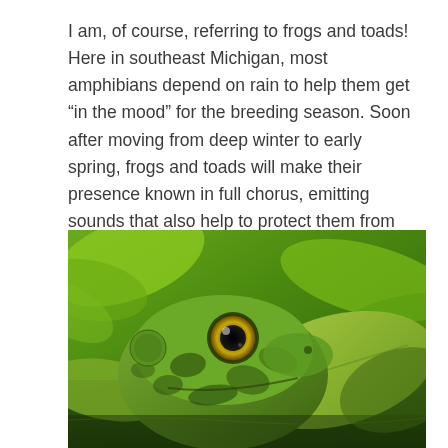I am, of course, referring to frogs and toads! Here in southeast Michigan, most amphibians depend on rain to help them get “in the mood” for the breeding season. Soon after moving from deep winter to early spring, frogs and toads will make their presence known in full chorus, emitting sounds that also help to protect them from predators.
[Figure (photo): Close-up photograph of a green frog partially submerged in water among lily pads, facing the camera with a prominent golden eye, green and dark-mottled skin, set against a lush green leafy background.]